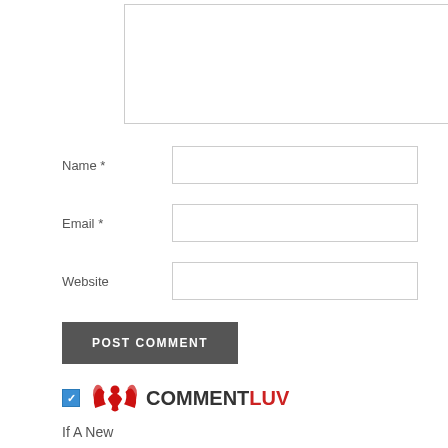[Figure (screenshot): Comment form textarea (large multi-line text input box)]
Name *
Email *
Website
POST COMMENT
[Figure (logo): CommentLuv logo with phoenix wings icon in red and text COMMENT in dark and LUV in red. Blue checkbox to the left.]
If A New